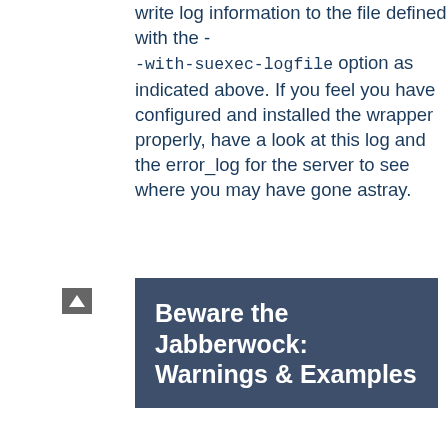write log information to the file defined with the --with-suexec-logfile option as indicated above. If you feel you have configured and installed the wrapper properly, have a look at this log and the error_log for the server to see where you may have gone astray.
[Figure (other): Navigation arrow button (up arrow icon)]
Beware the Jabberwock: Warnings & Examples
NOTE! This section may not be complete. For the latest revision of this section of the documentation, see the Online Documentation version